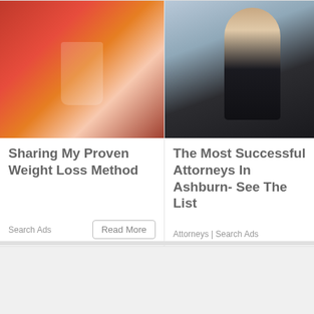[Figure (photo): Woman in red pouring water from a pitcher into a glass with lemon]
Sharing My Proven Weight Loss Method
Search Ads
[Figure (photo): Professional woman in black blazer with arms crossed, smiling]
The Most Successful Attorneys In Ashburn- See The List
Attorneys | Search Ads
[Figure (photo): Partially visible image, dark tones, cut off on right edge]
Ho Le Co
Unit